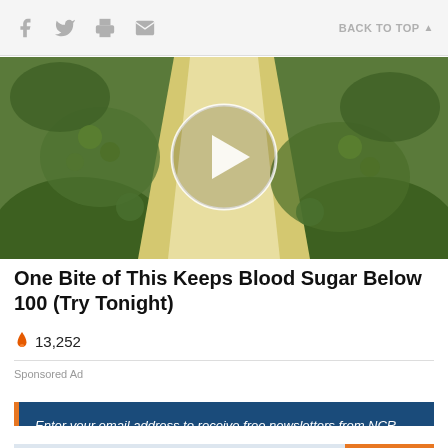BACK TO TOP
[Figure (photo): Close-up photo of green broccoli/bitter gourd vegetable with a white circular play button overlay in the center, indicating a video thumbnail.]
One Bite of This Keeps Blood Sugar Below 100 (Try Tonight)
🔥 13,252
Sponsored Ad
Enter your email address to receive free newsletters from NCR.